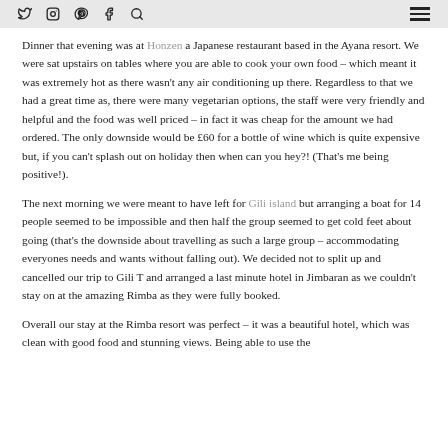Social media icons and navigation
Dinner that evening was at Honzen a Japanese restaurant based in the Ayana resort. We were sat upstairs on tables where you are able to cook your own food – which meant it was extremely hot as there wasn't any air conditioning up there. Regardless to that we had a great time as, there were many vegetarian options, the staff were very friendly and helpful and the food was well priced – in fact it was cheap for the amount we had ordered. The only downside would be £60 for a bottle of wine which is quite expensive but, if you can't splash out on holiday then when can you hey?! (That's me being positive!).
The next morning we were meant to have left for Gili island but arranging a boat for 14 people seemed to be impossible and then half the group seemed to get cold feet about going (that's the downside about travelling as such a large group – accommodating everyones needs and wants without falling out). We decided not to split up and cancelled our trip to Gili T and arranged a last minute hotel in Jimbaran as we couldn't stay on at the amazing Rimba as they were fully booked.
Overall our stay at the Rimba resort was perfect – it was a beautiful hotel, which was clean with good food and stunning views. Being able to use the